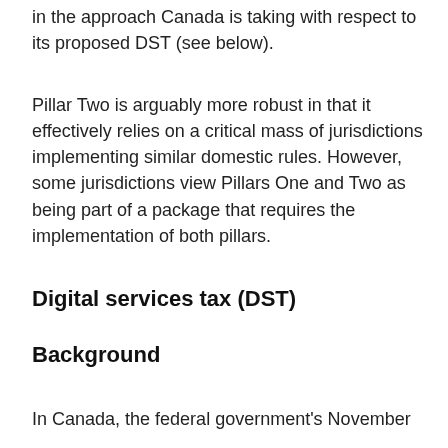in the approach Canada is taking with respect to its proposed DST (see below).
Pillar Two is arguably more robust in that it effectively relies on a critical mass of jurisdictions implementing similar domestic rules. However, some jurisdictions view Pillars One and Two as being part of a package that requires the implementation of both pillars.
Digital services tax (DST)
Background
In Canada, the federal government's November